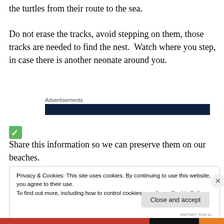the turtles from their route to the sea.
Do not erase the tracks, avoid stepping on them, those tracks are needed to find the nest.  Watch where you step, in case there is another neonate around you.
Advertisements
[Figure (other): Dark navy blue advertisement banner bar]
✅ Share this information so we can preserve them on our beaches.
Privacy & Cookies: This site uses cookies. By continuing to use this website, you agree to their use.
To find out more, including how to control cookies, see here: Cookie Policy